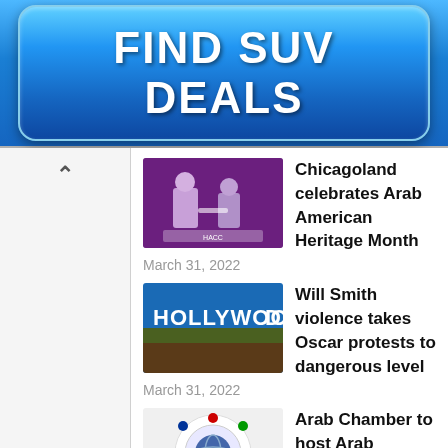[Figure (other): Blue gradient advertisement banner button with text FIND SUV DEALS in large bold white letters]
Chicagoland celebrates Arab American Heritage Month
March 31, 2022
Will Smith violence takes Oscar protests to dangerous level
March 31, 2022
Arab Chamber to host Arab Heritage Month dinner March 30
March 14, 2022